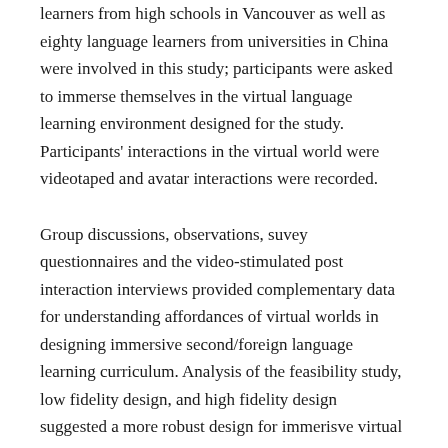learners from high schools in Vancouver as well as eighty language learners from universities in China were involved in this study; participants were asked to immerse themselves in the virtual language learning environment designed for the study. Participants' interactions in the virtual world were videotaped and avatar interactions were recorded.
Group discussions, observations, suvey questionnaires and the video-stimulated post interaction interviews provided complementary data for understanding affordances of virtual worlds in designing immersive second/foreign language learning curriculum. Analysis of the feasibility study, low fidelity design, and high fidelity design suggested a more robust design for immerisve virtual language learning environments. The subjects also used the